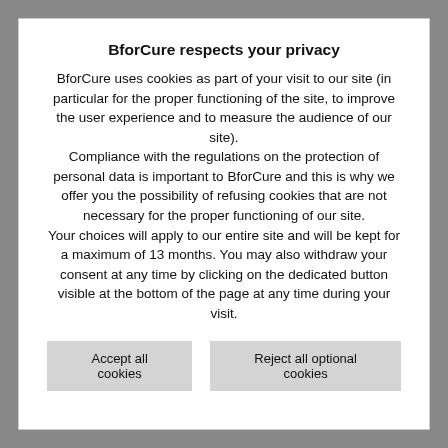BforCure respects your privacy
BforCure uses cookies as part of your visit to our site (in particular for the proper functioning of the site, to improve the user experience and to measure the audience of our site). Compliance with the regulations on the protection of personal data is important to BforCure and this is why we offer you the possibility of refusing cookies that are not necessary for the proper functioning of our site. Your choices will apply to our entire site and will be kept for a maximum of 13 months. You may also withdraw your consent at any time by clicking on the dedicated button visible at the bottom of the page at any time during your visit.
Accept all cookies
Reject all optional cookies